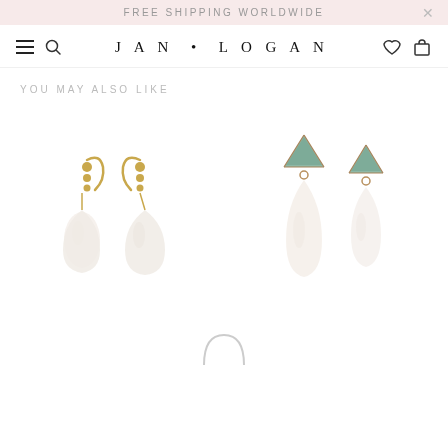FREE SHIPPING WORLDWIDE
[Figure (screenshot): Jan Logan jewelry website navigation bar with hamburger menu, search icon, JAN • LOGAN logo, heart/wishlist icon, and shopping bag icon]
YOU MAY ALSO LIKE
[Figure (photo): Two gold drop earrings with crystal/moonstone teardrop pendants and gold bead details at top]
[Figure (photo): Two rose gold drop earrings with teal/aqua triangular gemstone tops and white moonstone teardrop pendants]
[Figure (photo): Partial view of a ring at bottom of page]